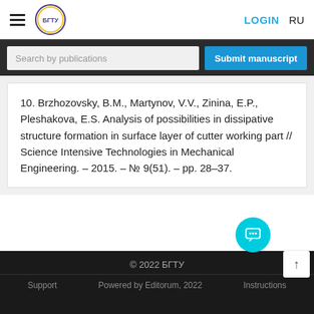LOGIN  RU
Search by publications
Submit manuscript
10. Brzhozovsky, B.M., Martynov, V.V., Zinina, E.P., Pleshakova, E.S. Analysis of possibilities in dissipative structure formation in surface layer of cutter working part // Science Intensive Technologies in Mechanical Engineering. – 2015. – № 9(51). – pp. 28–37.
© 2022 БГТУ
Support   Powered by Editorum, 2022   Instructions